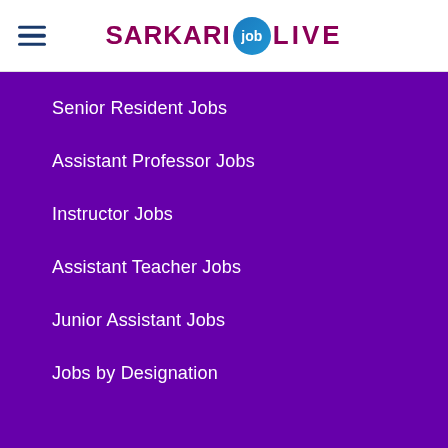SARKARI job LIVE
Senior Resident Jobs
Assistant Professor Jobs
Instructor Jobs
Assistant Teacher Jobs
Junior Assistant Jobs
Jobs by Designation